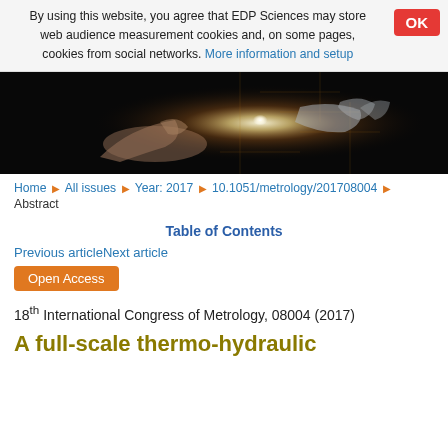By using this website, you agree that EDP Sciences may store web audience measurement cookies and, on some pages, cookies from social networks. More information and setup
[Figure (photo): Banner image showing two hands reaching toward each other with a glowing light, set against a dark background with circuit-like patterns (technology/science themed)]
Home ▶ All issues ▶ Year: 2017 ▶ 10.1051/metrology/201708004 ▶
Abstract
Table of Contents
Previous articleNext article
Open Access
18th International Congress of Metrology, 08004 (2017)
A full-scale thermo-hydraulic